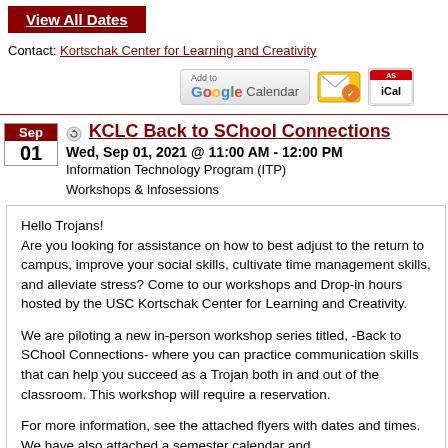View All Dates
Contact: Kortschak Center for Learning and Creativity
[Figure (screenshot): Add to Google Calendar button and iCal/email icons]
KCLC Back to SChool Connections
Wed, Sep 01, 2021 @ 11:00 AM - 12:00 PM
Information Technology Program (ITP)
Workshops & Infosessions
Hello Trojans!
Are you looking for assistance on how to best adjust to the return to campus, improve your social skills, cultivate time management skills, and alleviate stress? Come to our workshops and Drop-in hours hosted by the USC Kortschak Center for Learning and Creativity.

We are piloting a new in-person workshop series titled, -Back to SChool Connections- where you can practice communication skills that can help you succeed as a Trojan both in and out of the classroom. This workshop will require a reservation.

For more information, see the attached flyers with dates and times. We have also attached a semester calendar and